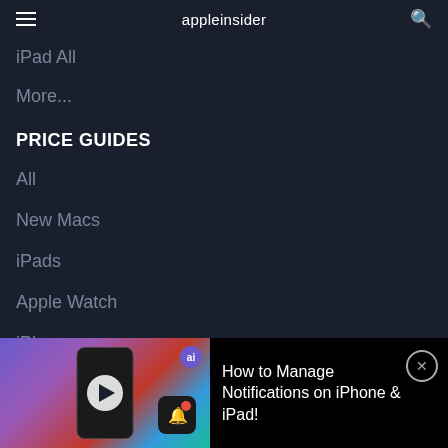appleinsider
iPad All
More...
PRICE GUIDES
All
New Macs
iPads
Apple Watch
iPhones
[Figure (screenshot): Video thumbnail showing iPhone with notification settings, ai badge, and bell notification icon overlay]
How to Manage Notifications on iPhone & iPad!